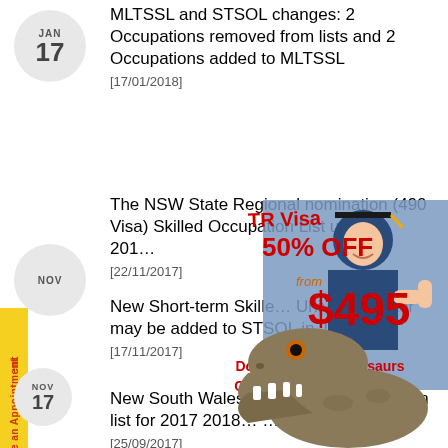[Figure (other): Date badge showing JAN 17]
MLTSSL and STSOL changes: 2 Occupations removed from lists and 2 Occupations added to MLTSSL
[17/01/2018]
[Figure (other): Date badge showing NOV]
The NSW State Regional nomination (490 Visa) Skilled Occupation List update 201…
[22/11/2017]
[Figure (other): Date badge - NOV area]
New Short-term Skilled Occupation List University Tutor may be added to STSOL in Jan 2018.
[17/11/2017]
New South Wales (NSW) Skilled occupation list for 2017 2018… released
[25/09/2017]
[Figure (infographic): Advertisement overlay showing TR Visa 50% OFF from $495 with graduate photo and dinosaur image saying Don't Feed the Dinosaurs Change Your Course Now]